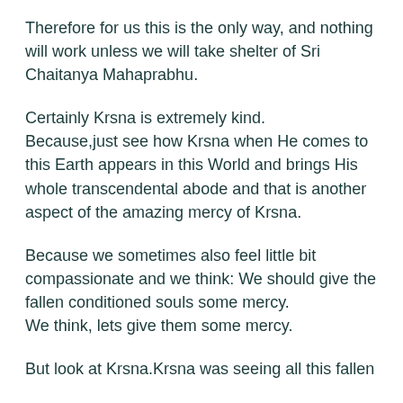Therefore for us this is the only way, and nothing will work unless we will take shelter of Sri Chaitanya Mahaprabhu.
Certainly Krsna is extremely kind. Because,just see how Krsna when He comes to this Earth appears in this World and brings His whole transcendental abode and that is another aspect of the amazing mercy of Krsna.
Because we sometimes also feel little bit compassionate and we think: We should give the fallen conditioned souls some mercy. We think, lets give them some mercy.
But look at Krsna.Krsna was seeing all this fallen